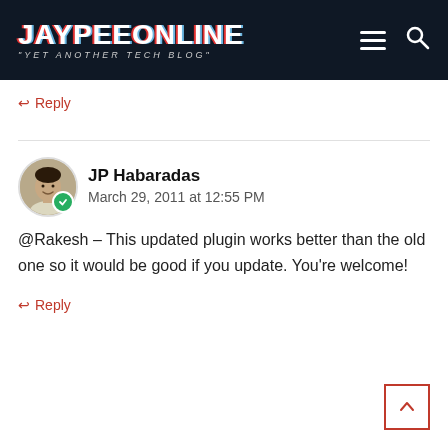[Figure (logo): JaypeeOnline 'Yet Another Tech Blog' logo with hamburger menu and search icon on dark navy header]
↩ Reply
JP Habaradas
March 29, 2011 at 12:55 PM
@Rakesh – This updated plugin works better than the old one so it would be good if you update. You're welcome!
↩ Reply